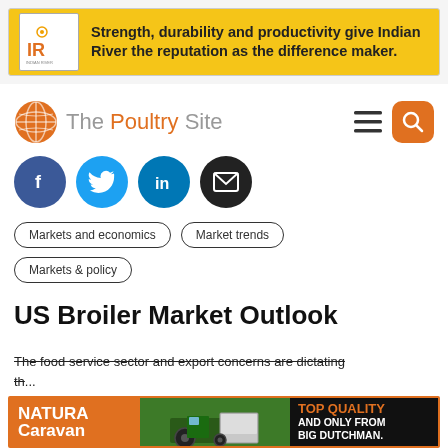[Figure (advertisement): Indian River ad banner: yellow background with IR logo and text 'Strength, durability and productivity give Indian River the reputation as the difference maker.']
The Poultry Site
[Figure (illustration): Social media icons: Facebook (blue), Twitter (light blue), LinkedIn (blue), Email (black) - circular icons]
Markets and economics
Market trends
Markets & policy
US Broiler Market Outlook
The food service sector and export concerns are dictating th... to... of Cobb Focus.
[Figure (advertisement): Natura Caravan / Big Dutchman advertisement banner at the bottom with tractor image]